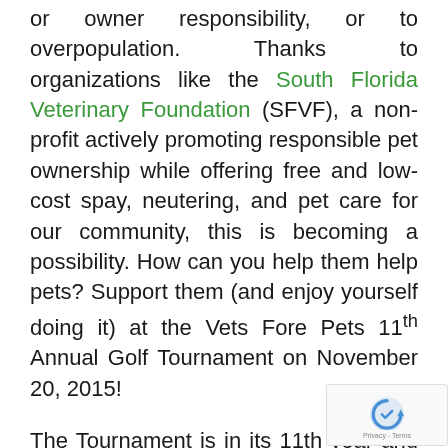or owner responsibility, or to overpopulation. Thanks to organizations like the South Florida Veterinary Foundation (SFVF), a non-profit actively promoting responsible pet ownership while offering free and low-cost spay, neutering, and pet care for our community, this is becoming a possibility. How can you help them help pets? Support them (and enjoy yourself doing it) at the Vets Fore Pets 11th Annual Golf Tournament on November 20, 2015!
The Tournament is in its 11th year and is the single largest fundraiser of the year! The SFVF hopes to bring animal lovers together to fund the ongoing programs it sponsors for the benefit of the community, including Project Unleashed, Project MDAS Partnership, and the Friends of the